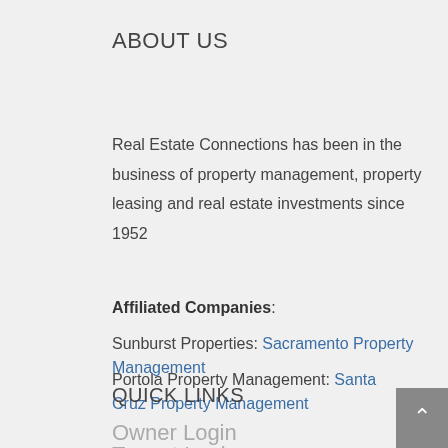ABOUT US
Real Estate Connections has been in the business of property management, property leasing and real estate investments since 1952
Affiliated Companies:
Sunburst Properties: Sacramento Property Management
Portola Property Management: Santa Cruz Property Management
QUICK LINKS
Owner Login
Tenant Login